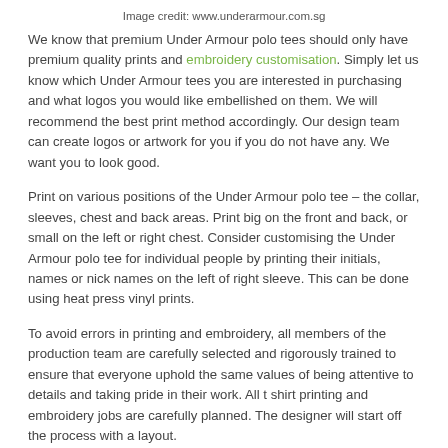Image credit: www.underarmour.com.sg
We know that premium Under Armour polo tees should only have premium quality prints and embroidery customisation. Simply let us know which Under Armour tees you are interested in purchasing and what logos you would like embellished on them. We will recommend the best print method accordingly. Our design team can create logos or artwork for you if you do not have any. We want you to look good.
Print on various positions of the Under Armour polo tee – the collar, sleeves, chest and back areas. Print big on the front and back, or small on the left or right chest. Consider customising the Under Armour polo tee for individual people by printing their initials, names or nick names on the left of right sleeve. This can be done using heat press vinyl prints.
To avoid errors in printing and embroidery, all members of the production team are carefully selected and rigorously trained to ensure that everyone uphold the same values of being attentive to details and taking pride in their work. All t shirt printing and embroidery jobs are carefully planned. The designer will start off the process with a layout.